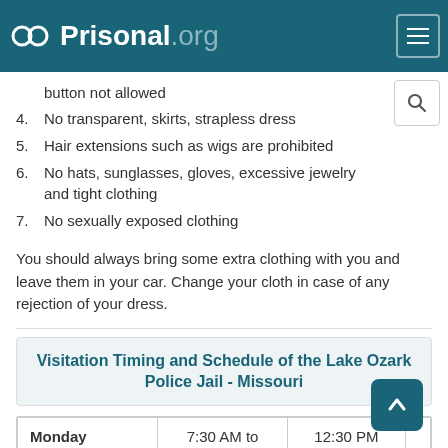Prisonal.org
button not allowed
4. No transparent, skirts, strapless dress
5. Hair extensions such as wigs are prohibited
6. No hats, sunglasses, gloves, excessive jewelry and tight clothing
7. No sexually exposed clothing
You should always bring some extra clothing with you and leave them in your car. Change your cloth in case of any rejection of your dress.
Visitation Timing and Schedule of the Lake Ozark Police Jail - Missouri
|  | 7:30 AM to | 12:30 PM |  |
| --- | --- | --- | --- |
| Monday | 7:30 AM to | 12:30 PM |  |